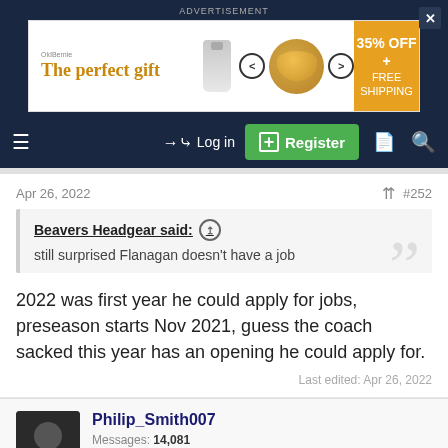ADVERTISEMENT
[Figure (infographic): Advertisement banner: 'The perfect gift' with food bowl imagery, arrows, and '35% OFF + FREE SHIPPING' orange panel]
[Figure (screenshot): Navigation bar with hamburger menu, Log in button, Register button (green), document icon, and search icon. Close X button top right.]
Apr 26, 2022
#252
Beavers Headgear said: ↑
still surprised Flanagan doesn't have a job
2022 was first year he could apply for jobs, preseason starts Nov 2021, guess the coach sacked this year has an opening he could apply for.
Last edited: Apr 26, 2022
Philip_Smith007
Messages: 14,081